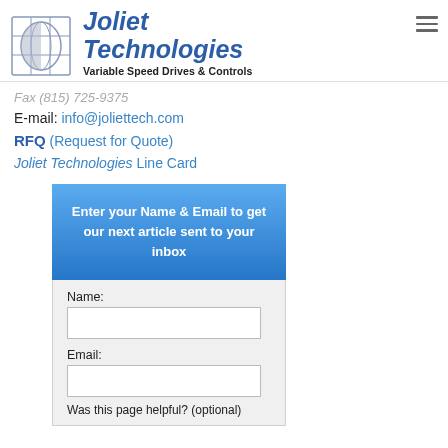[Figure (logo): Joliet Technologies logo with grid/globe icon and text 'Joliet Technologies Variable Speed Drives & Controls']
Fax (815) 725-9375
E-mail: info@joliettech.com
RFQ (Request for Quote)
Joliet Technologies Line Card
Enter your Name & Email to get our next article sent to your inbox
Name:
Email:
Was this page helpful? (optional)